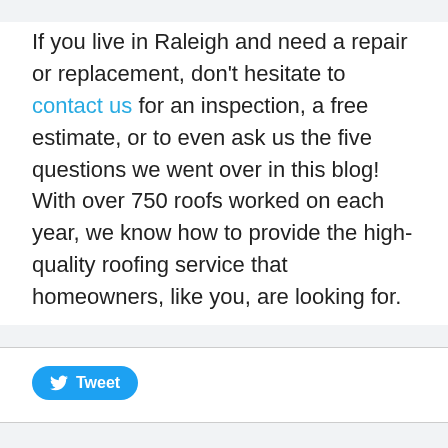If you live in Raleigh and need a repair or replacement, don't hesitate to contact us for an inspection, a free estimate, or to even ask us the five questions we went over in this blog! With over 750 roofs worked on each year, we know how to provide the high-quality roofing service that homeowners, like you, are looking for.
[Figure (other): Tweet button with Twitter bird icon]
[Figure (other): Circular scroll-to-top button with upward chevron arrow]